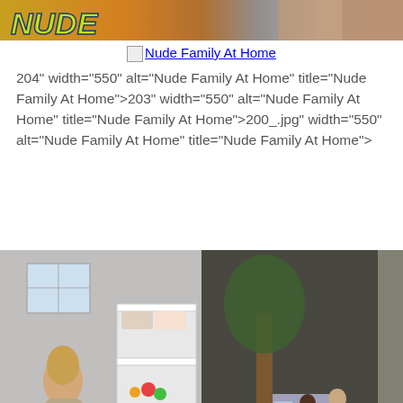[Figure (photo): Top banner image with yellow-green text on yellow/brown background, partially showing body]
Nude Family At Home
204" width="550" alt="Nude Family At Home" title="Nude Family At Home">203" width="550" alt="Nude Family At Home" title="Nude Family At Home">200_.jpg" width="550" alt="Nude Family At Home" title="Nude Family At Home">
[Figure (photo): Two side-by-side photos: left shows a woman and child in a bedroom with bunk bed; right shows outdoor scene with people near a tree and police vehicle]
Nude Family At Home
[Figure (photo): Bottom strip image partially visible]